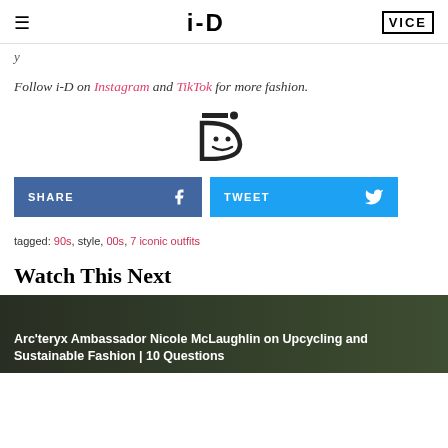i-D | VICE
y
Follow i-D on Instagram and TikTok for more fashion.
[Figure (logo): i-D magazine logo (stylized smiley face icon)]
SHARE   TWEET
tagged: 90s, style, 00s, 7 iconic outfits
Watch This Next
Arc'teryx Ambassador Nicole McLaughlin on Upcycling and Sustainable Fashion | 10 Questions